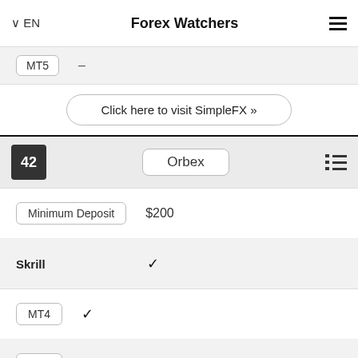EN  Forex Watchers
| Feature | Value |
| --- | --- |
| MT5 | – |
Click here to visit SimpleFX »
| # | Broker |  |
| --- | --- | --- |
| 42 | Orbex |  |
| Minimum Deposit | $200 |  |
| Skrill | ✓ |  |
| MT4 | ✓ |  |
| MT5 | – |  |
Click here to visit Orbex »